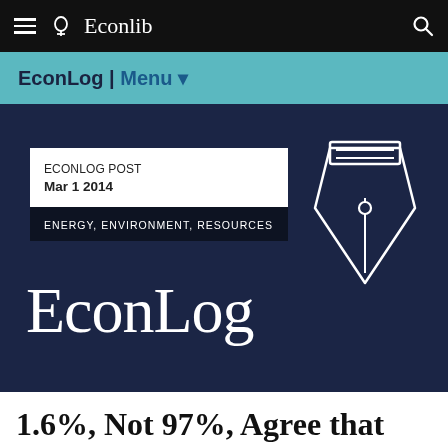Econlib
EconLog | Menu
[Figure (logo): EconLog post card with date Mar 1 2014, category ENERGY, ENVIRONMENT, RESOURCES, EconLog brand name, and pen nib icon on dark navy background]
1.6%, Not 97%, Agree that